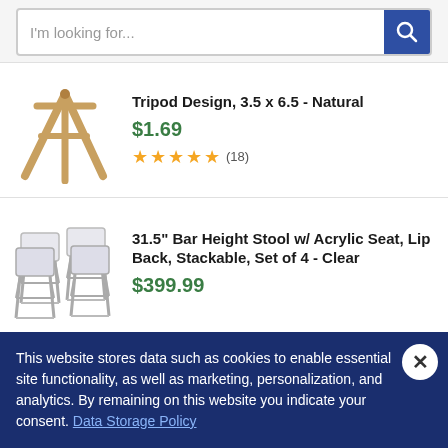[Figure (screenshot): Search bar with placeholder text 'I'm looking for...' and a blue search button with magnifying glass icon]
Tripod Design, 3.5 x 6.5 - Natural
$1.69
★★★★★ (18)
[Figure (photo): Wooden tripod easel, natural wood color]
31.5" Bar Height Stool w/ Acrylic Seat, Lip Back, Stackable, Set of 4 - Clear
$399.99
[Figure (photo): Set of 4 clear acrylic bar height stools with chrome legs]
This website stores data such as cookies to enable essential site functionality, as well as marketing, personalization, and analytics. By remaining on this website you indicate your consent. Data Storage Policy